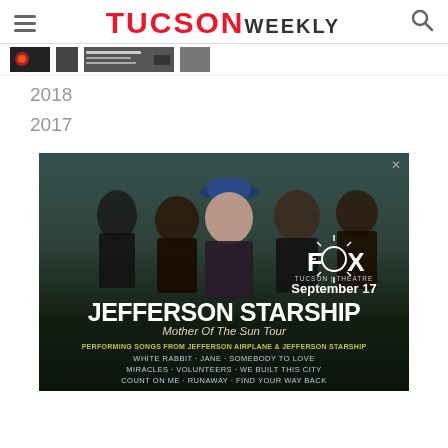TUCSON WEEKLY
[Figure (screenshot): Navigation strip with thumbnail images for articles, partially visible]
2018
2017
[Figure (photo): Advertisement for Jefferson Starship 'Mother Of The Sun Tour' at Fox Tucson Theatre, September 17. Shows band photo with text: PERFORMING SONGS FROM JEFFERSON AIRPLANE & JEFFERSON STARSHIP. WHITE RABBIT · JANE · SOMEBODY TO LOVE. MIRACLES · VOLUNTEERS · WE BUILT THIS CITY. COUNT ON ME · RUNAWAY · FIND YOUR WAY BACK]